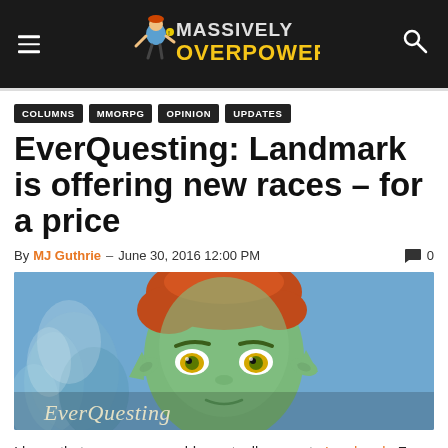Massively Overpowered
COLUMNS
MMORPG
OPINION
UPDATES
EverQuesting: Landmark is offering new races – for a price
By MJ Guthrie – June 30, 2016 12:00 PM   0
[Figure (photo): Green-skinned fantasy elf character with red hair and yellow eyes, with 'EverQuesting' logo overlaid at the bottom. Background shows a snowy forest scene.]
I knew that new races would eventually come to Landmark. From the beginning it didn't make any